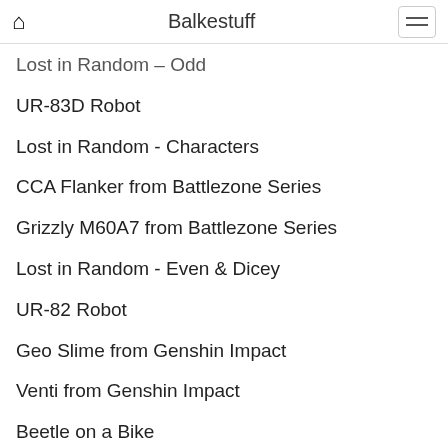Balkestuff
Lost in Random – Odd
UR-83D Robot
Lost in Random - Characters
CCA Flanker from Battlezone Series
Grizzly M60A7 from Battlezone Series
Lost in Random - Even & Dicey
UR-82 Robot
Geo Slime from Genshin Impact
Venti from Genshin Impact
Beetle on a Bike
The Unkempt Harold from Borderlands 2
The Baby Maker from Borderlands 2
The Beowulf from LoGH